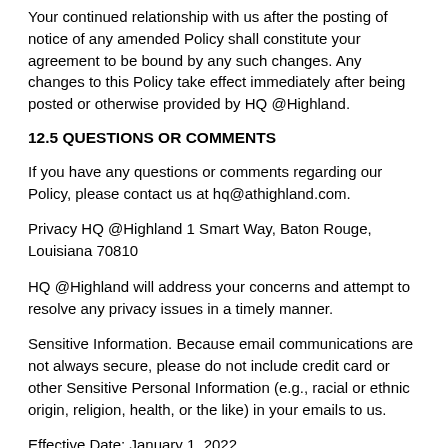Your continued relationship with us after the posting of notice of any amended Policy shall constitute your agreement to be bound by any such changes. Any changes to this Policy take effect immediately after being posted or otherwise provided by HQ @Highland.
12.5 QUESTIONS OR COMMENTS
If you have any questions or comments regarding our Policy, please contact us at hq@athighland.com.
Privacy HQ @Highland 1 Smart Way, Baton Rouge, Louisiana 70810
HQ @Highland will address your concerns and attempt to resolve any privacy issues in a timely manner.
Sensitive Information. Because email communications are not always secure, please do not include credit card or other Sensitive Personal Information (e.g., racial or ethnic origin, religion, health, or the like) in your emails to us.
Effective Date: January 1, 2022